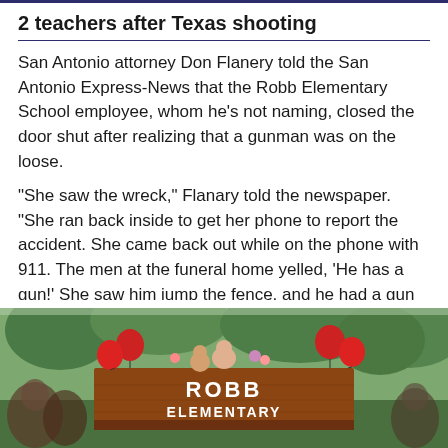2 teachers after Texas shooting
San Antonio attorney Don Flanery told the San Antonio Express-News that the Robb Elementary School employee, whom he's not naming, closed the door shut after realizing that a gunman was on the loose.
"She saw the wreck," Flanary told the newspaper. "She ran back inside to get her phone to report the accident. She came back out while on the phone with 911. The men at the funeral home yelled, ‘He has a gun!’ She saw him jump the fence, and he had a gun so she ran back inside.
[Figure (photo): Photo of Robb Elementary school sign with red balloons and memorial tributes on top, people gathered around, trees visible in background]